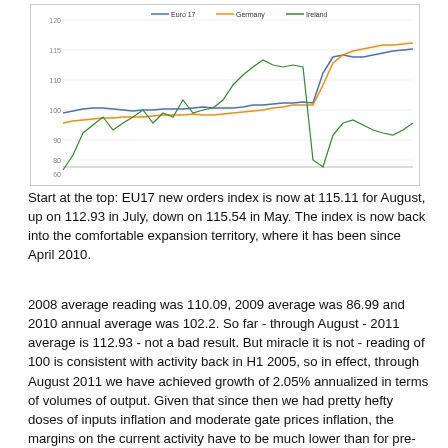[Figure (line-chart): Line chart showing EU17, Germany, and Ireland new orders indices over time from approximately 2007 to 2011]
Start at the top: EU17 new orders index is now at 115.11 for August, up on 112.93 in July, down on 115.54 in May. The index is now back into the comfortable expansion territory, where it has been since April 2010.
2008 average reading was 110.09, 2009 average was 86.99 and 2010 annual average was 102.2. So far - through August - 2011 average is 112.93 - not a bad result. But miracle it is not - reading of 100 is consistent with activity back in H1 2005, so in effect, through August 2011 we have achieved growth of 2.05% annualized in terms of volumes of output. Given that since then we had pretty hefty doses of inputs inflation and moderate gate prices inflation, the margins on the current activity have to be much lower than for pre-crisis